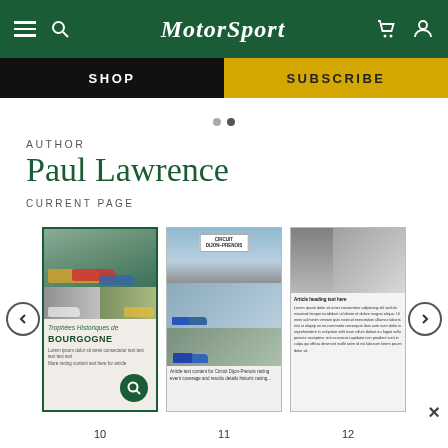MotorSport
SHOP
SUBSCRIBE
AUTHOR
Paul Lawrence
CURRENT PAGE
[Figure (screenshot): Three thumbnail images of Motor Sport magazine pages: page 10 showing Trophées Historiques de Bourgogne racing article, page 11 showing Circuit Dijon-Prenois racing article, page 12 showing a text article with portrait photo and motorcycle photo. Navigation arrows on left and right. Page 10 thumbnail is highlighted with green border and has a search magnifier overlay icon.]
10
11
12